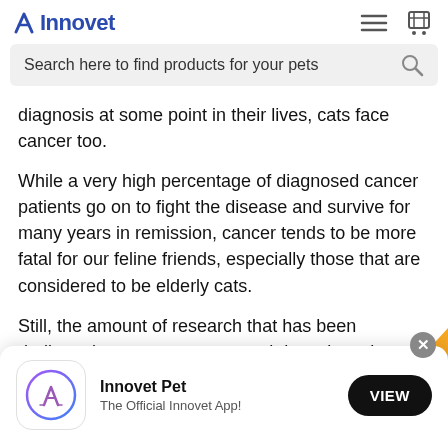Innovet
Search here to find products for your pets
diagnosis at some point in their lives, cats face cancer too.
While a very high percentage of diagnosed cancer patients go on to fight the disease and survive for many years in remission, cancer tends to be more fatal for our feline friends, especially those that are considered to be elderly cats.
Still, the amount of research that has been dedicated to cat cancer research has skyrockets
[Figure (screenshot): App store banner: Innovet Pet app with VIEW button]